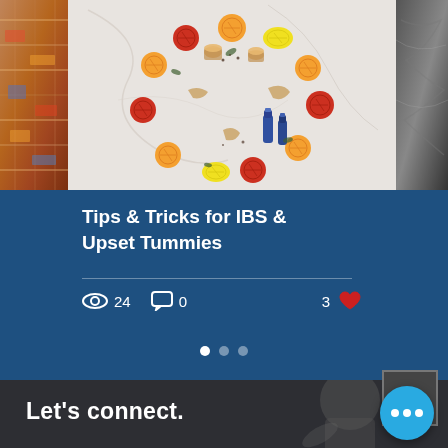[Figure (photo): Top image strip: left side shows a colorful textile/blanket pattern, center shows a wreath made of citrus fruits (oranges, blood oranges, lemons), ginger, herbs, and small blue essential oil bottles arranged in a circle on a light marble surface, right side shows a dark shiny fabric or rain jacket]
Tips & Tricks for IBS & Upset Tummies
24  (views)   0  (comments)   3  (likes)
[Figure (screenshot): Pagination dots: one white filled dot and two lighter dots indicating a carousel with 3 slides, first active]
Let's connect.
[Figure (photo): Dark footer background showing a blurred image of a person, with a blue circular button showing three dots (ellipsis) and a back-to-top arrow button]